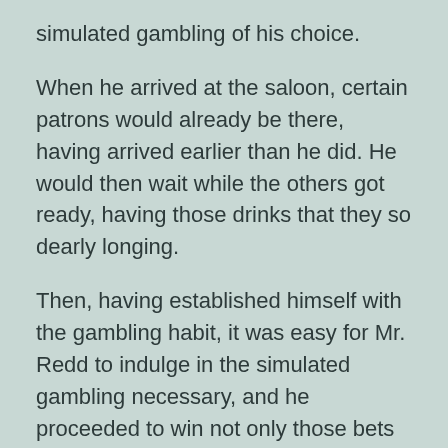simulated gambling of his choice.
When he arrived at the saloon, certain patrons would already be there, having arrived earlier than he did. He would then wait while the others got ready, having those drinks that they so dearly longing.
Then, having established himself with the gambling habit, it was easy for Mr. Redd to indulge in the simulated gambling necessary, and he proceeded to win not only those bets that gave him the revenue, but those bets too that gave the saloon patrons the revenue.